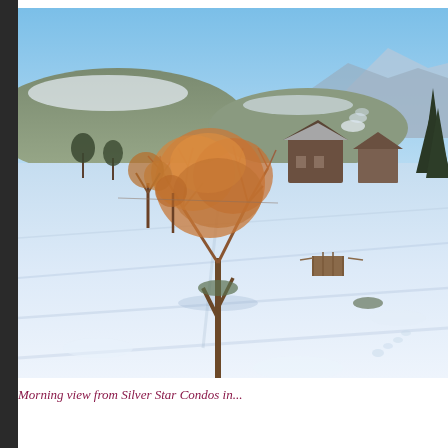[Figure (photo): Winter landscape photo showing a snow-covered field with bare trees including a prominent large reddish-orange leafless tree in the center, a wooden structure or cabin with snow on the roof in the background, rolling hills and mountains under a clear blue sky, and long shadows cast across the snow. Steam or mist rises from behind buildings in the background.]
Morning view from Silver Star Condos in...